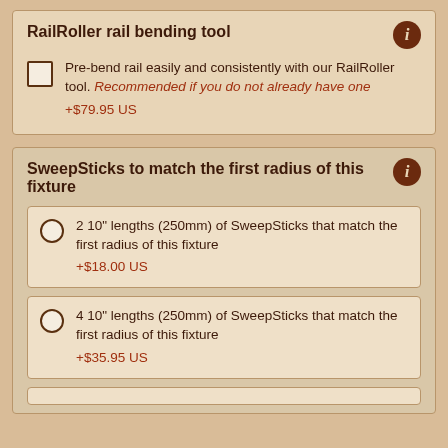RailRoller rail bending tool
Pre-bend rail easily and consistently with our RailRoller tool. Recommended if you do not already have one
+$79.95 US
SweepSticks to match the first radius of this fixture
2 10" lengths (250mm) of SweepSticks that match the first radius of this fixture
+$18.00 US
4 10" lengths (250mm) of SweepSticks that match the first radius of this fixture
+$35.95 US